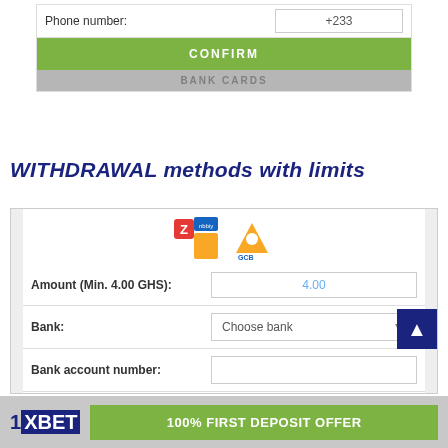[Figure (screenshot): Top portion of a deposit form showing Phone number field with +233 and a green CONFIRM button, followed by a grey BANK CARDS tab.]
WITHDRAWAL methods with limits
[Figure (screenshot): Withdrawal form screenshot showing Zeepay and GCB bank logos, form fields for Amount (Min. 4.00 GHS) showing 4.00, Bank with Choose bank dropdown, Bank account number, Account holder's name, and a green CONFIRM button.]
[Figure (screenshot): Bottom banner showing 1XBET logo and 100% FIRST DEPOSIT OFFER green button.]